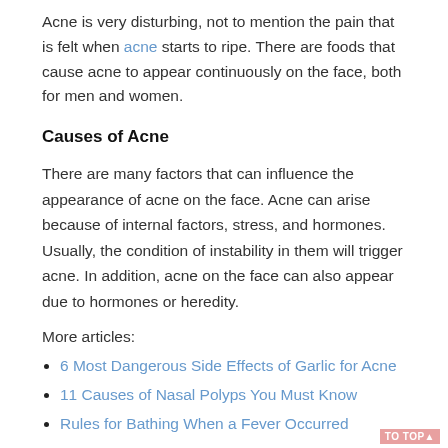Acne is very disturbing, not to mention the pain that is felt when acne starts to ripe. There are foods that cause acne to appear continuously on the face, both for men and women.
Causes of Acne
There are many factors that can influence the appearance of acne on the face. Acne can arise because of internal factors, stress, and hormones. Usually, the condition of instability in them will trigger acne. In addition, acne on the face can also appear due to hormones or heredity.
More articles:
6 Most Dangerous Side Effects of Garlic for Acne
11 Causes of Nasal Polyps You Must Know
Rules for Bathing When a Fever Occurred
Foods That Cause Acne
There are 21 foods that can cause acne to appear continuously. This is a fact which not many people know and realize that one of the foods